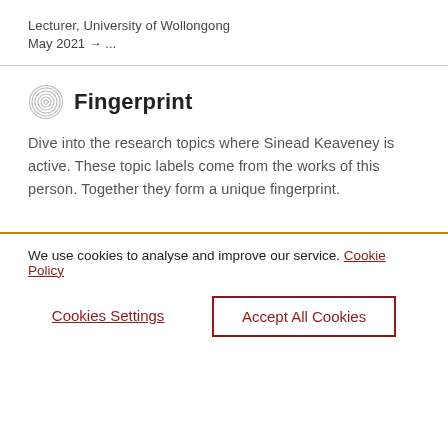Lecturer, University of Wollongong
May 2021 → ...
Fingerprint
Dive into the research topics where Sinead Keaveney is active. These topic labels come from the works of this person. Together they form a unique fingerprint.
We use cookies to analyse and improve our service. Cookie Policy
Cookies Settings
Accept All Cookies